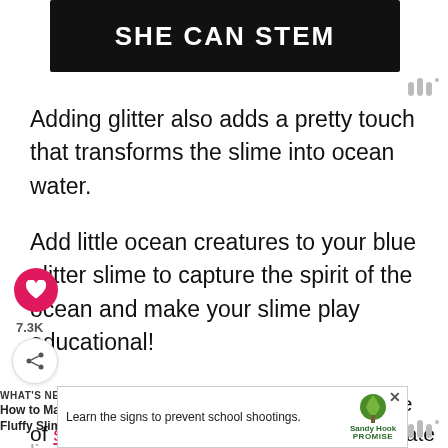[Figure (logo): SHE CAN STEM banner with white bold text on dark background]
Adding glitter also adds a pretty touch that transforms the slime into ocean water.
Add little ocean creatures to your blue glitter slime to capture the spirit of the ocean and make your slime play educational!
want to check out the ultimate list of summer STEM activities and the ultimate lis
[Figure (screenshot): Ad banner: Learn the signs to prevent school shootings. Sandy Hook Promise logo with tree graphic.]